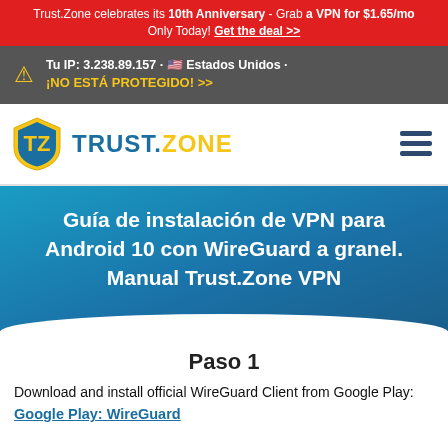Trust.Zone celebrates its 10th Anniversary - Grab a VPN for $1.65/mo Only Today! Get the deal >>
Tu IP: 3.238.89.157 · 🇺🇸 Estados Unidos · ¡NO ESTÁ PROTEGIDO! >>
[Figure (logo): Trust.Zone logo with shield icon and hamburger menu]
Guía de instalación de VPN para Android 10 con WireGuard a granel. Manual Trust.Zone VPN
Paso 1
Download and install official WireGuard Client from Google Play: Google Play: WireGuard